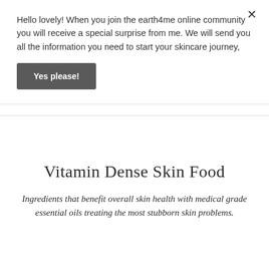Hello lovely! When you join the earth4me online community you will receive a special surprise from me. We will send you all the information you need to start your skincare journey,
Yes please!
Vitamin Dense Skin Food
Ingredients that benefit overall skin health with medical grade essential oils treating the most stubborn skin problems.